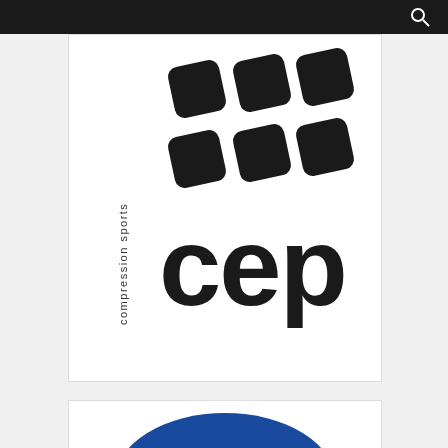Navigation bar with search icon
[Figure (logo): CEP Compression Sports logo — six rounded diamond/square shapes arranged in a 2x3 grid above the bold lowercase text 'cep' with 'compression sports' written vertically in small text to the left]
[Figure (logo): Partial view of a circular blue logo with white text, partially cut off at the bottom of the page]